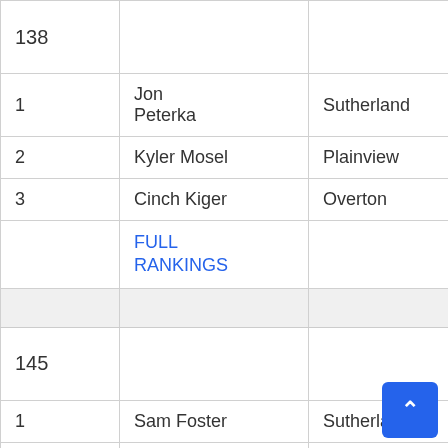|  |  |  |  |
| --- | --- | --- | --- |
| 138 |  |  |  |
| 1 | Jon Peterka | Sutherland | Sr |
| 2 | Kyler Mosel | Plainview | Jr |
| 3 | Cinch Kiger | Overton | Sr |
|  | FULL RANKINGS |  |  |
|  |  |  |  |
| 145 |  |  |  |
| 1 | Sam Foster | Sutherland | Sr |
| 2 | Tanner Frahm | Plainview | Jr |